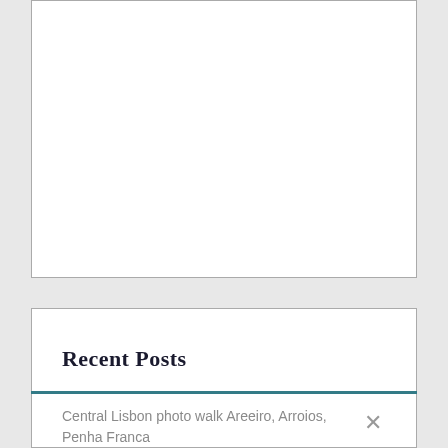[Figure (other): White empty box with border, no content visible]
Recent Posts
Central Lisbon photo walk Areeiro, Arroios, Penha Franca